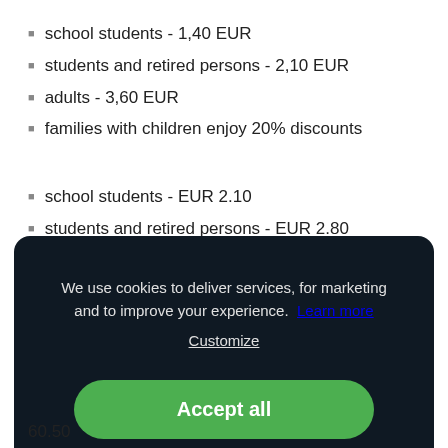school students - 1,40 EUR
students and retired persons - 2,10 EUR
adults - 3,60 EUR
families with children enjoy 20% discounts
school students - EUR 2.10
students and retired persons - EUR 2.80
adults - EUR 4.80 (partially visible)
We use cookies to deliver services, for marketing and to improve your experience.  Learn more  Customize
Accept all
60.50